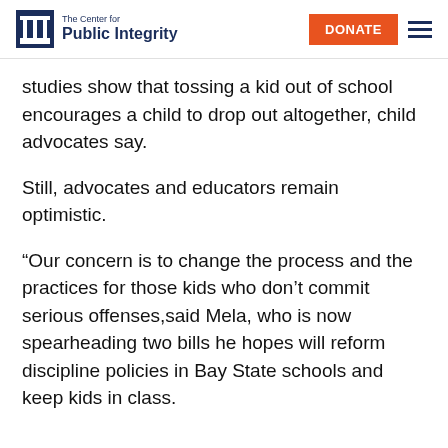The Center for Public Integrity | DONATE
studies show that tossing a kid out of school encourages a child to drop out altogether, child advocates say.
Still, advocates and educators remain optimistic.
“Our concern is to change the process and the practices for those kids who don’t commit serious offenses,said Mela, who is now spearheading two bills he hopes will reform discipline policies in Bay State schools and keep kids in class.